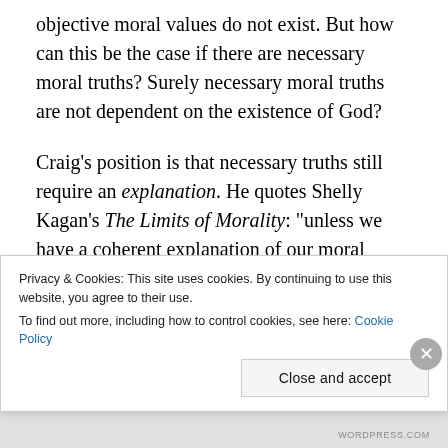objective moral values do not exist. But how can this be the case if there are necessary moral truths? Surely necessary moral truths are not dependent on the existence of God?
Craig’s position is that necessary truths still require an explanation. He quotes Shelly Kagan’s The Limits of Morality: “unless we have a coherent explanation of our moral principles, we don’t have a satisfactory ground for believing them to be true”. So Craig is arguing that Wielenberg needs to explain why there are some necessary
Privacy & Cookies: This site uses cookies. By continuing to use this website, you agree to their use.
To find out more, including how to control cookies, see here: Cookie Policy